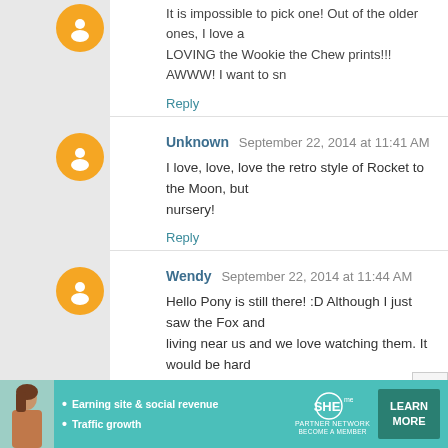It is impossible to pick one! Out of the older ones, I love a... LOVING the Wookie the Chew prints!!! AWWW! I want to sm...
Reply
Unknown  September 22, 2014 at 11:41 AM
I love, love, love the retro style of Rocket to the Moon, but... nursery!
Reply
Wendy  September 22, 2014 at 11:44 AM
Hello Pony is still there! :D Although I just saw the Fox and... living near us and we love watching them. It would be hard...
Reply
RobinMK  September 22, 2014 at 11:46 AM
Joe Martin's bad-ass Leia is still there! Want want want WA...
Reply
[Figure (infographic): SHE Partner Network advertisement banner with photo of woman, text about Earning site & social revenue and Traffic growth, SHE logo, and LEARN MORE button]